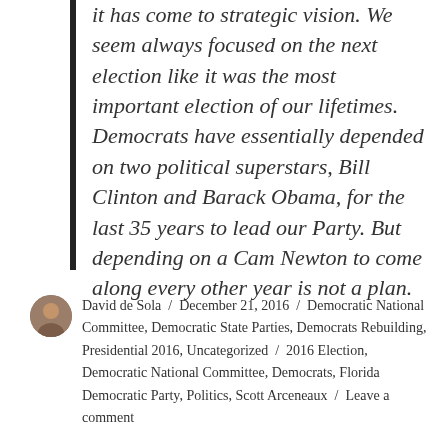it has come to strategic vision. We seem always focused on the next election like it was the most important election of our lifetimes. Democrats have essentially depended on two political superstars, Bill Clinton and Barack Obama, for the last 35 years to lead our Party. But depending on a Cam Newton to come along every other year is not a plan.
David de Sola / December 21, 2016 / Democratic National Committee, Democratic State Parties, Democrats Rebuilding, Presidential 2016, Uncategorized / 2016 Election, Democratic National Committee, Democrats, Florida Democratic Party, Politics, Scott Arceneaux / Leave a comment